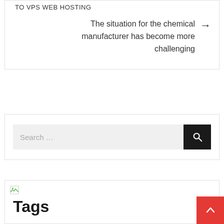TO VPS WEB HOSTING
The situation for the chemical manufacturer has become more challenging →
[Figure (other): Search bar with text input showing 'Search ...' and a black search button with magnifying glass icon]
[Figure (other): Broken image placeholder icon (small green/white icon)]
Tags